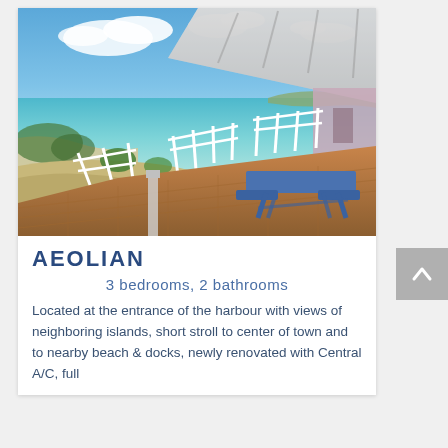[Figure (photo): Beachfront property photo showing a wooden deck with a blue picnic table, white railings, clear turquoise ocean water, sandy beach, and blue sky with clouds.]
AEOLIAN
3 bedrooms, 2 bathrooms
Located at the entrance of the harbour with views of neighboring islands, short stroll to center of town and to nearby beach & docks, newly renovated with Central A/C, full